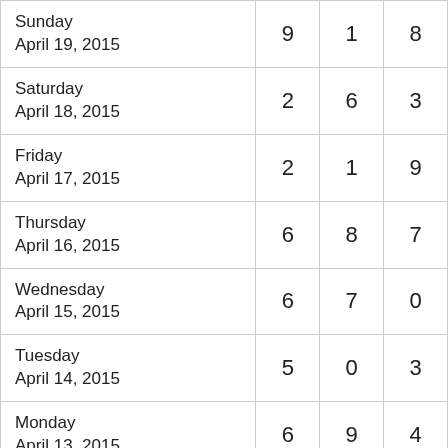| Date |  |  |  |
| --- | --- | --- | --- |
| Sunday
April 19, 2015 | 9 | 1 | 8 |
| Saturday
April 18, 2015 | 2 | 6 | 3 |
| Friday
April 17, 2015 | 2 | 1 | 9 |
| Thursday
April 16, 2015 | 6 | 8 | 7 |
| Wednesday
April 15, 2015 | 6 | 7 | 0 |
| Tuesday
April 14, 2015 | 5 | 0 | 3 |
| Monday
April 13, 2015 | 6 | 9 | 4 |